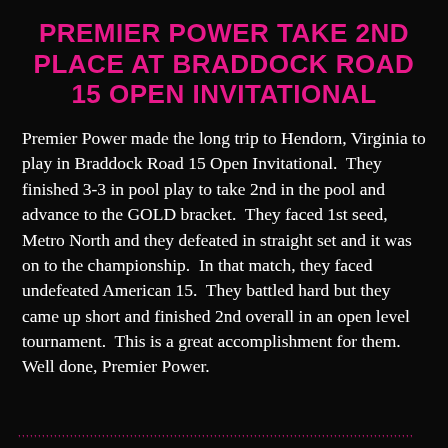PREMIER POWER TAKE 2ND PLACE AT BRADDOCK ROAD 15 OPEN INVITATIONAL
Premier Power made the long trip to Hendorn, Virginia to play in Braddock Road 15 Open Invitational.  They finished 3-3 in pool play to take 2nd in the pool and advance to the GOLD bracket.  They faced 1st seed, Metro North and they defeated in straight set and it was on to the championship.  In that match, they faced undefeated American 15.  They battled hard but they came up short and finished 2nd overall in an open level tournament.  This is a great accomplishment for them. Well done, Premier Power.
,,,,,,,,,,,,,,,,,,,,,,,,,,,,,,,,,,,,,,,,,,,,,,,,,,,,,,,,,,,,,,,,,,,,,,,,,,,,,,,,,,,,,